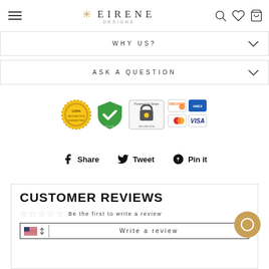EIRENE — navigation header with logo, hamburger menu, search, wishlist, and cart icons
WHY US?
ASK A QUESTION
[Figure (infographic): Trust badges: 100% guaranteed seal, green shield checkmark AES-256bit, Powered by Stripe secure lock, Discover, American Express, MasterCard, Visa payment icons]
Share  Tweet  Pin it
CUSTOMER REVIEWS
☆ ☆ ☆ ☆ ☆  Be the first to write a review
Write a review